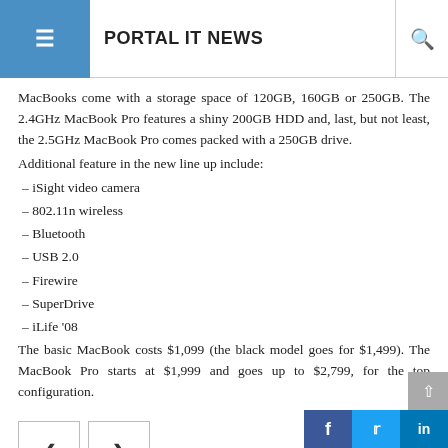PORTAL IT NEWS
MacBooks come with a storage space of 120GB, 160GB or 250GB. The 2.4GHz MacBook Pro features a shiny 200GB HDD and, last, but not least, the 2.5GHz MacBook Pro comes packed with a 250GB drive.
Additional feature in the new line up include:
– iSight video camera
– 802.11n wireless
– Bluetooth
– USB 2.0
– Firewire
– SuperDrive
– iLife '08
The basic MacBook costs $1,099 (the black model goes for $1,499). The MacBook Pro starts at $1,999 and goes up to $2,799, for the top configuration.